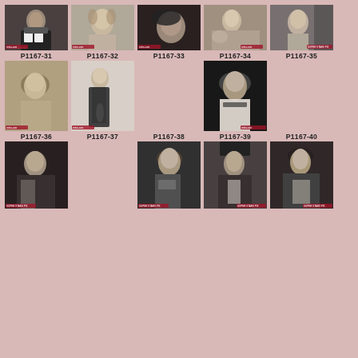[Figure (photo): Grid of vintage black and white portrait photographs labeled P1167-31 through P1167-40 plus three unlabeled bottom row photos. Row 1: P1167-31 woman in suit, P1167-32 woman with curly hair, P1167-33 close-up face, P1167-34 woman reclining, P1167-35 woman portrait. Row 2: P1167-36 woman in hat, P1167-37 woman in long coat, P1167-38 empty, P1167-39 woman in headpiece, P1167-40 empty label. Row 3: three photos with unlabeled bottom row showing women in hats and formal wear.]